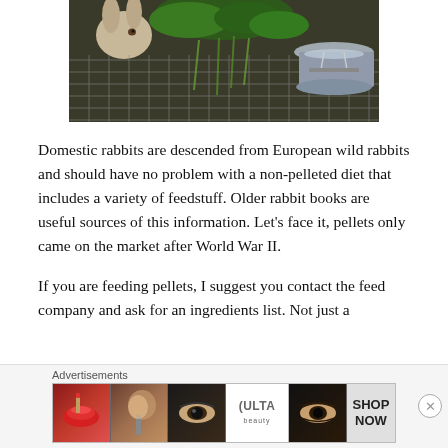[Figure (photo): A rabbit in a wire cage with green herbs/parsley and a metal bowl with water]
Domestic rabbits are descended from European wild rabbits and should have no problem with a non-pelleted diet that includes a variety of feedstuff. Older rabbit books are useful sources of this information. Let's face it, pellets only came on the market after World War II.
If you are feeding pellets, I suggest you contact the feed company and ask for an ingredients list. Not just a
Advertisements
[Figure (photo): ULTA beauty advertisement banner showing makeup imagery including lips, brush, eyes, and ULTA logo with SHOP NOW text]